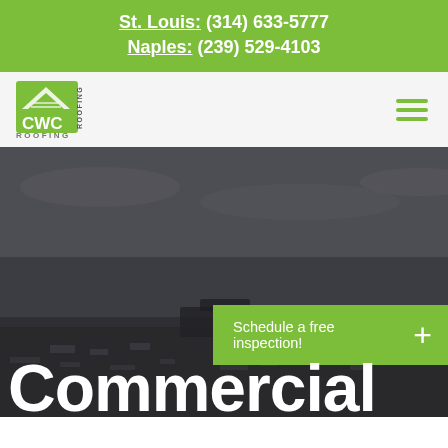St. Louis: (314) 633-5777
Naples: (239) 529-4103
[Figure (logo): CWC Roofing company logo with house/roof icon in green and grey]
[Figure (photo): Aerial view of a commercial flat roof with HVAC units and equipment, dark cloudy sky, dark overlay]
Commercial
Schedule a free inspection!